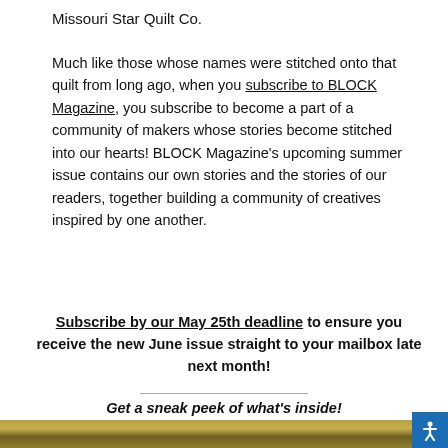Missouri Star Quilt Co.
Much like those whose names were stitched onto that quilt from long ago, when you subscribe to BLOCK Magazine, you subscribe to become a part of a community of makers whose stories become stitched into our hearts! BLOCK Magazine's upcoming summer issue contains our own stories and the stories of our readers, together building a community of creatives inspired by one another.
Subscribe by our May 25th deadline to ensure you receive the new June issue straight to your mailbox late next month!
Get a sneak peek of what's inside!
[Figure (photo): Bottom strip showing a quilt or fabric image partially visible at the bottom of the page]